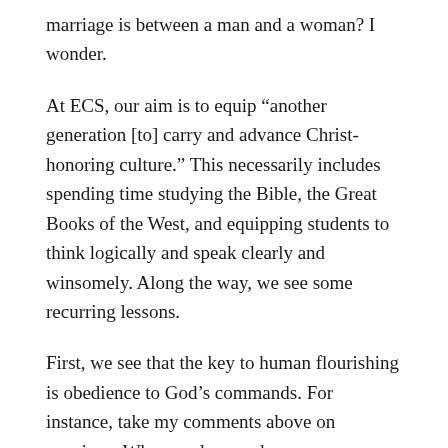marriage is between a man and a woman? I wonder.
At ECS, our aim is to equip “another generation [to] carry and advance Christ-honoring culture.” This necessarily includes spending time studying the Bible, the Great Books of the West, and equipping students to think logically and speak clearly and winsomely. Along the way, we see some recurring lessons.
First, we see that the key to human flourishing is obedience to God’s commands. For instance, take my comments above on marriage. When we love and encourage marriage between one man and one woman for life, which is God’s intended arrangement, we find ourselves in strangely rare company... and our kids flourish in security and think that this sort of thing (i.e., a husband and a wife together in happy matrimony) is normal. Of course we live in a Genesis 3 world, and we’ve all been affected by divorce (including many in our own ECS community and the Sarr family tree), but I’ve never met a